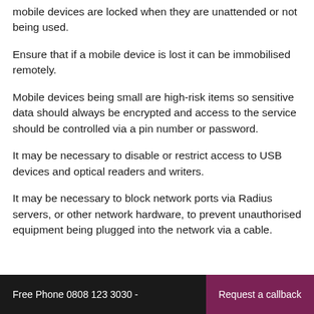mobile devices are locked when they are unattended or not being used.
Ensure that if a mobile device is lost it can be immobilised remotely.
Mobile devices being small are high-risk items so sensitive data should always be encrypted and access to the service should be controlled via a pin number or password.
It may be necessary to disable or restrict access to USB devices and optical readers and writers.
It may be necessary to block network ports via Radius servers, or other network hardware, to prevent unauthorised equipment being plugged into the network via a cable.
Free Phone 0808 123 3030 -  Request a callback